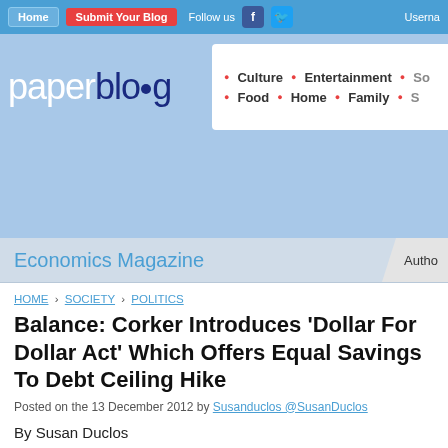Home | Submit Your Blog | Follow us | Username
[Figure (logo): paperblog logo with navigation menu showing Culture, Entertainment, Food, Home, Family categories]
Economics Magazine | Autho
HOME › SOCIETY › POLITICS
Balance: Corker Introduces 'Dollar For Dollar Act' Which Offers Equal Savings To Debt Ceiling Hike
Posted on the 13 December 2012 by Susanduclos @SusanDuclos
By Susan Duclos